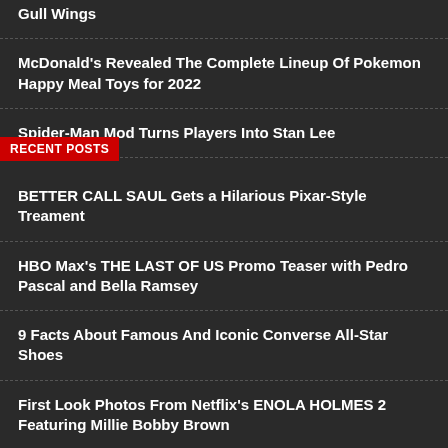Gull Wings
McDonald's Revealed The Complete Lineup Of Pokemon Happy Meal Toys for 2022
Spider-Man Mod Turns Players Into Stan Lee
RECENT POSTS
BETTER CALL SAUL Gets a Hilarious Pixar-Style Treament
HBO Max's THE LAST OF US Promo Teaser with Pedro Pascal and Bella Ramsey
9 Facts About Famous And Iconic Converse All-Star Shoes
First Look Photos From Netflix's ENOLA HOLMES 2 Featuring Millie Bobby Brown
Showtime's AMERICAN GIGOLO New Trailer and Poster Starring Jon Bernthal
Mark Zuckerberg Responds To Backlash, Says Metaverse Won't Be Depressing To Look At
The Best Vegetarian Options at Major Fast Food Chains